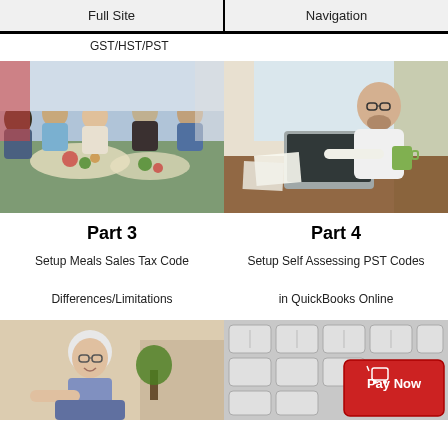Full Site | Navigation
GST/HST/PST
[Figure (photo): Business people having a meal/lunch meeting around a table with food]
[Figure (photo): Man in white shirt working on laptop at desk with papers and green mug]
Part 3
Part 4
Setup Meals Sales Tax Code
Differences/Limitations
Setup Self Assessing PST Codes in QuickBooks Online
[Figure (photo): Elderly woman smiling, looking at something off camera, in home setting]
[Figure (photo): Keyboard close-up with red Pay Now button key]